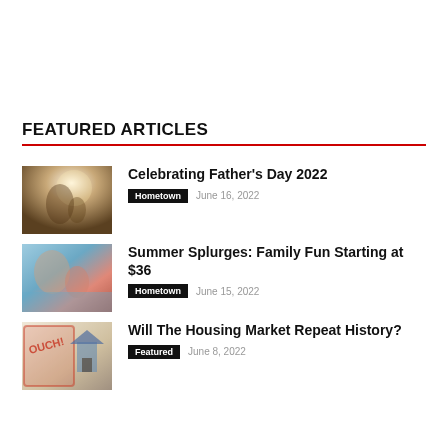FEATURED ARTICLES
[Figure (photo): Photo of a father and child outdoors in soft sunlight]
Celebrating Father's Day 2022
Hometown   June 16, 2022
[Figure (photo): Photo of a man and baby at a water park]
Summer Splurges: Family Fun Starting at $36
Hometown   June 15, 2022
[Figure (photo): Housing market graphic with house and stamp]
Will The Housing Market Repeat History?
Featured   June 8, 2022